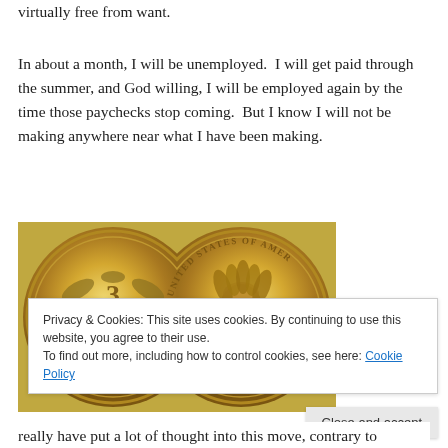virtually free from want.
In about a month, I will be unemployed.  I will get paid through the summer, and God willing, I will be employed again by the time those paychecks stop coming.  But I know I will not be making anywhere near what I have been making.
[Figure (photo): Two gold coins side by side. Left coin shows '3 DOLLARS' denomination with floral design. Right coin shows 'UNITED STATES OF AMERICA' with Indian head design.]
Privacy & Cookies: This site uses cookies. By continuing to use this website, you agree to their use.
To find out more, including how to control cookies, see here: Cookie Policy
really have put a lot of thought into this move, contrary to